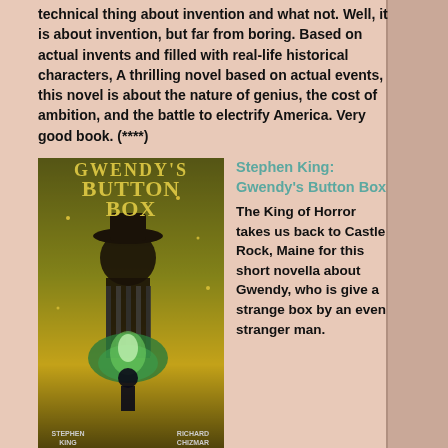technical thing about invention and what not. Well, it is about invention, but far from boring. Based on actual invents and filled with real-life historical characters, A thrilling novel based on actual events, this novel is about the nature of genius, the cost of ambition, and the battle to electrify America. Very good book. (****)
[Figure (illustration): Book cover of Gwendy's Button Box by Stephen King - dark atmospheric cover with a silhouetted figure]
Stephen King: Gwendy's Button Box
The King of Horror takes us back to Castle Rock, Maine for this short novella about Gwendy, who is give a strange box by an even stranger man. The box can do good things, but it can do bad things too--oh such bad things. How Gwendy handles this awesome responsibility is the story. (***)
[Figure (illustration): Book cover of Bette & by Shaun Considine - black cover with pink and blue text]
Shaun Considine: Bette &